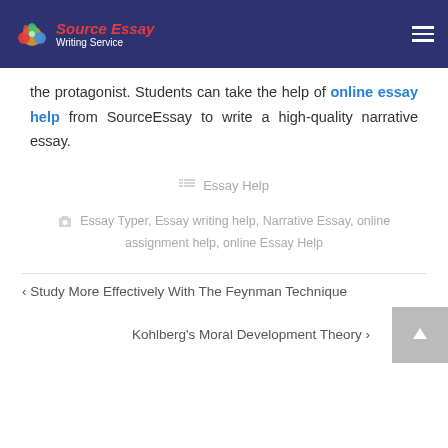Source Essay Writing Service
the protagonist. Students can take the help of online essay help from SourceEssay to write a high-quality narrative essay.
Essay Help
Essay Typer, Essay writing help, Narrative Essay, online assignment help, online Essay Help
< Study More Effectively With The Feynman Technique
Kohlberg's Moral Development Theory >